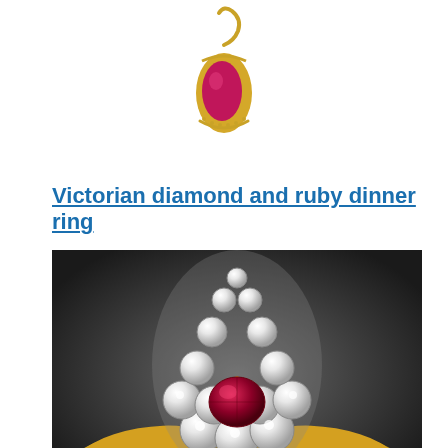[Figure (photo): A gold pendant with a pink/red cabochon ruby stone set in a gold bezel, shaped like a teardrop or pebble, with milgrain detailing. Set against a white background.]
Victorian diamond and ruby dinner ring
[Figure (photo): A Victorian-era dinner ring featuring a pear-shaped cluster of old-cut diamonds surrounding a central round ruby or red gemstone, set in yellow gold with a wide gold band. Photographed close-up against a dark gray gradient background.]